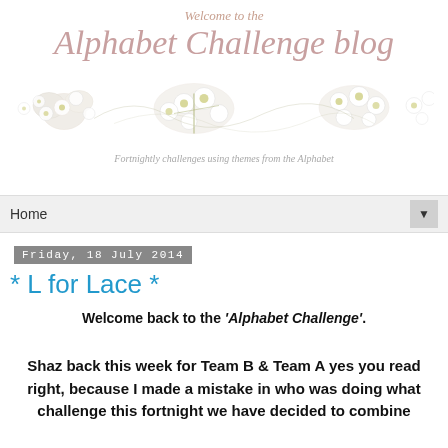Welcome to the Alphabet Challenge blog
Fortnightly challenges using themes from the Alphabet
[Figure (illustration): Decorative floral strip with white flowers and greenery across the banner]
Home
Friday, 18 July 2014
* L for Lace *
Welcome back to the 'Alphabet Challenge'.
Shaz back this week for Team B & Team A yes you read right, because I made a mistake in who was doing what challenge this fortnight we have decided to combine